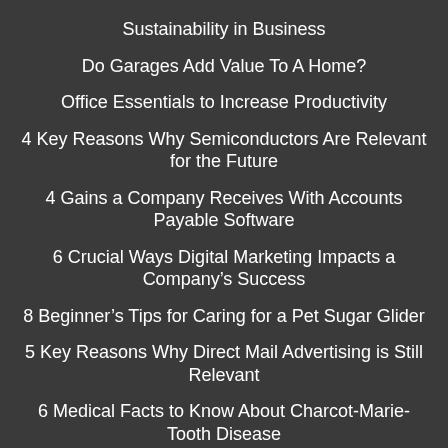Sustainability in Business
Do Garages Add Value To A Home?
Office Essentials to Increase Productivity
4 Key Reasons Why Semiconductors Are Relevant for the Future
4 Gains a Company Receives With Accounts Payable Software
6 Crucial Ways Digital Marketing Impacts a Company’s Success
8 Beginner’s Tips for Caring for a Pet Sugar Glider
5 Key Reasons Why Direct Mail Advertising is Still Relevant
6 Medical Facts to Know About Charcot-Marie-Tooth Disease
3 Benefits of Using a Company for Data Integration and